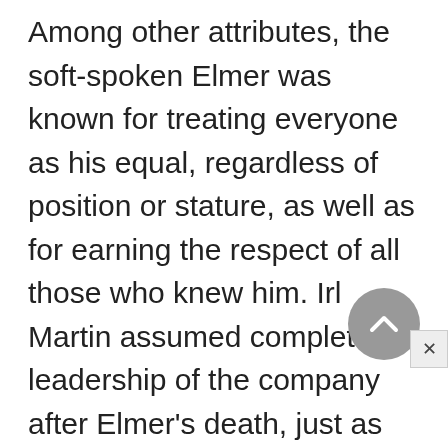Among other attributes, the soft-spoken Elmer was known for treating everyone as his equal, regardless of position or stature, as well as for earning the respect of all those who knew him. Irl Martin assumed complete leadership of the company after Elmer's death, just as Woodward Governor was entering the greatest growth phase in its history. Indeed, World War II placed huge demands on the company's production facilities as orders for its advanced propeller